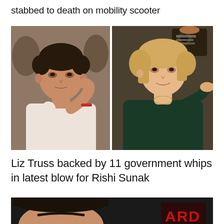stabbed to death on mobility scooter
[Figure (photo): Side-by-side photos of Rishi Sunak (left, in white shirt with red wristband, gesturing to his neck) and Liz Truss (right, in dark green dress, pointing finger toward camera)]
Liz Truss backed by 11 government whips in latest blow for Rishi Sunak
[Figure (photo): Partially visible photo at bottom of page showing a person's face cropped, with red text/logo visible on right side reading 'ARD']